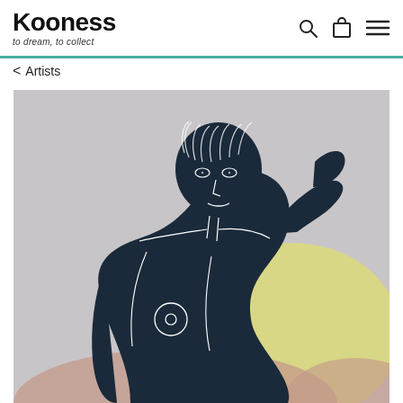Kooness — to dream, to collect
< Artists
[Figure (illustration): A figurative artwork showing a dark navy blue female figure rendered in a flat graphic style with white line detail on a light grey background. The figure has long hair, gazes forward, and raises one arm to her head. Behind her are soft yellow and pink/mauve abstract shapes. The style resembles a linocut or screen print.]